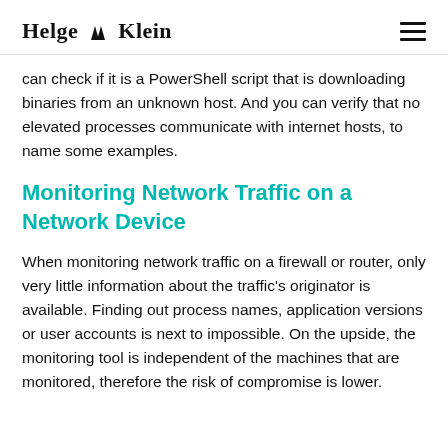Helge Klein
can check if it is a PowerShell script that is downloading binaries from an unknown host. And you can verify that no elevated processes communicate with internet hosts, to name some examples.
Monitoring Network Traffic on a Network Device
When monitoring network traffic on a firewall or router, only very little information about the traffic's originator is available. Finding out process names, application versions or user accounts is next to impossible. On the upside, the monitoring tool is independent of the machines that are monitored, therefore the risk of compromise is lower.